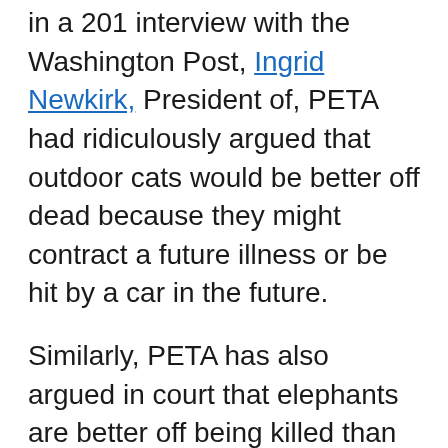in a 201 interview with the Washington Post, Ingrid Newkirk, President of, PETA had ridiculously argued that outdoor cats would be better off dead because they might contract a future illness or be hit by a car in the future.
Similarly, PETA has also argued in court that elephants are better off being killed than living in American zoos where they are well cared for. PETA is more widely known for its edgy protests and media campaigns to draw attention to animal suffering than for this riverside shelter, and some in the animal welfare community deem the group too radical